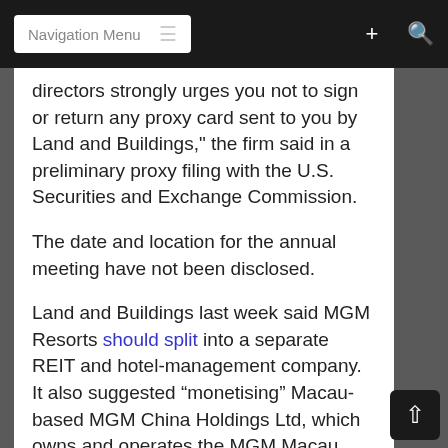Navigation Menu
directors strongly urges you not to sign or return any proxy card sent to you by Land and Buildings," the firm said in a preliminary proxy filing with the U.S. Securities and Exchange Commission.
The date and location for the annual meeting have not been disclosed.
Land and Buildings last week said MGM Resorts should split into a separate REIT and hotel-management company. It also suggested “monetising” Macau-based MGM China Holdings Ltd, which owns and operates the MGM Macau (pictured) and is building the US$3-billion MGM Cotai.
The hedge fund, owner of fewer than 1 percent of MGM Resorts’ outstanding